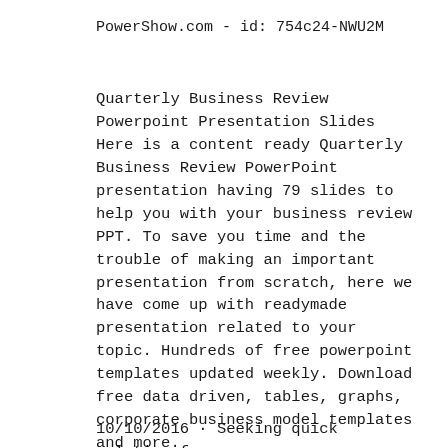PowerShow.com - id: 754c24-NWU2M
Quarterly Business Review Powerpoint Presentation Slides Here is a content ready Quarterly Business Review PowerPoint presentation having 79 slides to help you with your business review PPT. To save you time and the trouble of making an important presentation from scratch, here we have come up with readymade presentation related to your topic. Hundreds of free powerpoint templates updated weekly. Download free data driven, tables, graphs, corporate business model templates and more.
10/10/2016 · Seeking quick solution for